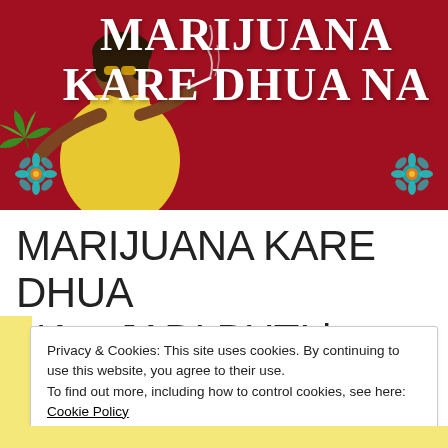[Figure (illustration): Red banner with illustrated woman in yellow dress holding a marijuana leaf, smoking. Text 'MARIJUANA KARE DHUA NA' in bold white serif font. Decorative flowers in bottom corners.]
MARIJUANA KARE DHUA NA – JADI BUTI | MAJOR LAZER | NUCLEYA
Privacy & Cookies: This site uses cookies. By continuing to use this website, you agree to their use.
To find out more, including how to control cookies, see here: Cookie Policy
Close and accept